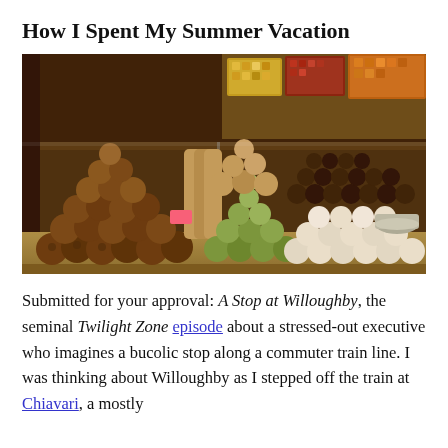How I Spent My Summer Vacation
[Figure (photo): A market display showing pyramids of various nuts, macarons (green, brown), and other confections including white meringues and chocolates, with trays of colorful foods in the background.]
Submitted for your approval: A Stop at Willoughby, the seminal Twilight Zone episode about a stressed-out executive who imagines a bucolic stop along a commuter train line. I was thinking about Willoughby as I stepped off the train at Chiavari, a mostly